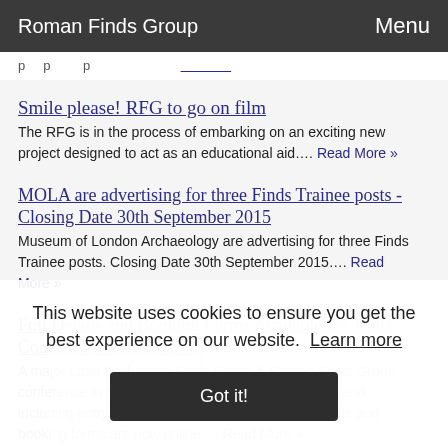Roman Finds Group    Menu
Smile please! RFG to go on film
The RFG is in the process of embarking on an exciting new project designed to act as an educational aid…. Read More »
MOLA are advertising for three Finds Trainee posts - Closing Date 30th September 2015
Museum of London Archaeology are advertising for three Finds Trainee posts. Closing Date 30th September 2015…. Read More »
Full Details and Booking Forms Available for 'Celts' Conference Autumn 2015
A major Later Prehistoric Finds Group & Roman Finds Group conference in collaboration with the British Museum and including entry to the temporary exhibition. Full details and booking forms are now online…. Read More »
This website uses cookies to ensure you get the best experience on our website.  Learn more